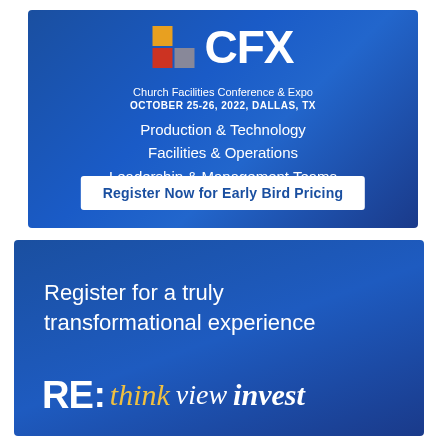[Figure (infographic): CFX Church Facilities Conference & Expo advertisement. Blue gradient background with colorful logo squares and CFX text. Lists Production & Technology, Facilities & Operations, Leadership & Management Teams. Button: Register Now for Early Bird Pricing. Event: October 25-26, 2022, Dallas, TX.]
[Figure (infographic): RE: think view invest advertisement on blue gradient background. Text: Register for a truly transformational experience. Brand logo RE: with think in gold italic, view and invest in white italic.]